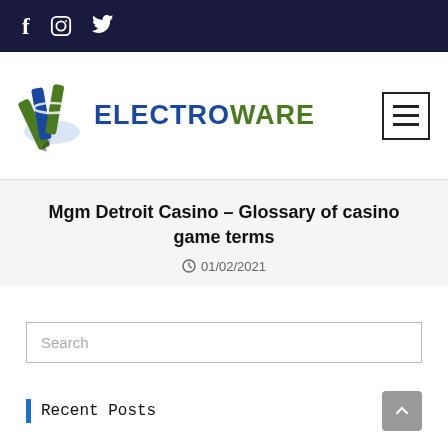Social media links: Facebook, Instagram, Twitter
[Figure (logo): Electroware logo with pencil/book icon and text ELECTROWARE in blue and green]
Mgm Detroit Casino – Glossary of casino game terms
01/02/2021
Search
Recent Posts